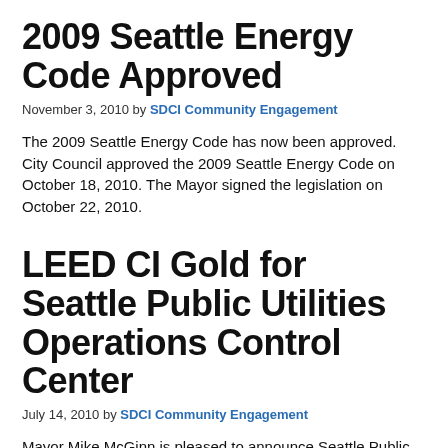2009 Seattle Energy Code Approved
November 3, 2010 by SDCI Community Engagement
The 2009 Seattle Energy Code has now been approved. City Council approved the 2009 Seattle Energy Code on October 18, 2010. The Mayor signed the legislation on October 22, 2010.
LEED CI Gold for Seattle Public Utilities Operations Control Center
July 14, 2010 by SDCI Community Engagement
Mayor Mike McGinn is pleased to announce Seattle Public